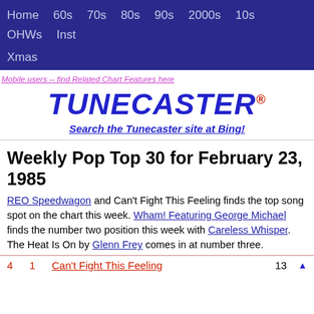Home  60s  70s  80s  90s  2000s  10s  OHWs  Inst  Xmas
Mobile users -- find Related Chart Features here
TUNECASTER®
Search the Tunecaster site at Bing!
Weekly Pop Top 30 for February 23, 1985
REO Speedwagon and Can't Fight This Feeling finds the top song spot on the chart this week. Wham! Featuring George Michael finds the number two position this week with Careless Whisper. The Heat Is On by Glenn Frey comes in at number three.
4  1  Can't Fight This Feeling  13  ▲